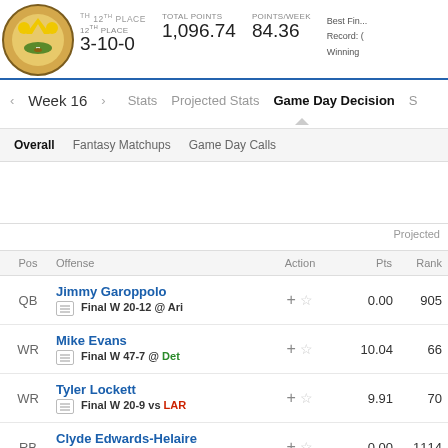12TH PLACE 3-10-0 | TOTAL POINTS 1,096.74 | POINTS/WEEK 84.36 | Best Fin... Record: ... Winning ...
« Week 16 »  Stats  Projected Stats  Game Day Decision  S
Overall  Fantasy Matchups  Game Day Calls
Projected
| Pos | Offense | Action | Pts | Rank |
| --- | --- | --- | --- | --- |
| QB | Jimmy Garoppolo
Final W 20-12 @ Ari | +☆ | 0.00 | 905 |
| WR | Mike Evans
Final W 47-7 @ Det | +☆ | 10.04 | 66 |
| WR | Tyler Lockett
Final W 20-9 vs LAR | +☆ | 9.91 | 70 |
| RB | Clyde Edwards-Helaire
Final W 17-14 vs Atl | +☆ | 0.00 | 1114 |